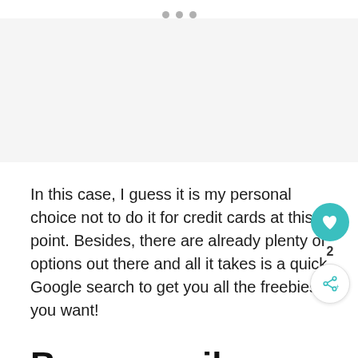[Figure (other): Page indicator dots (three grey dots) at top of mobile page]
[Figure (other): Empty light grey image/content placeholder area]
In this case, I guess it is my personal choice not to do it for credit cards at this point. Besides, there are already plenty of options out there and all it takes is a quick Google search to get you all the freebies you want!
Bonus : miles-collecting resources